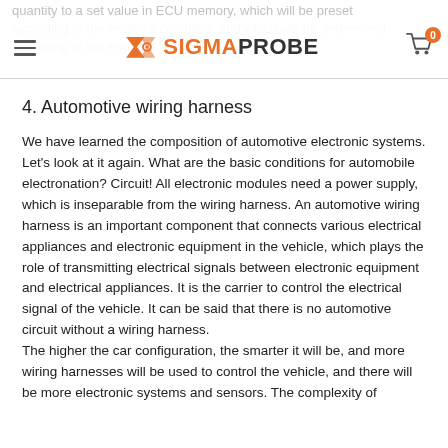quantity to a set value in ECU memory, which will be preset according to the engine's condition, and which will be determined according to the engine speed and air intake quantity.
[Figure (logo): SigmaProbe logo with orange sigma/arrow icon and bold SIGMAPROBE text, hamburger menu icon on left, shopping cart icon with badge '0' on right]
4. Automotive wiring harness
We have learned the composition of automotive electronic systems. Let's look at it again. What are the basic conditions for automobile electronation? Circuit! All electronic modules need a power supply, which is inseparable from the wiring harness. An automotive wiring harness is an important component that connects various electrical appliances and electronic equipment in the vehicle, which plays the role of transmitting electrical signals between electronic equipment and electrical appliances. It is the carrier to control the electrical signal of the vehicle. It can be said that there is no automotive circuit without a wiring harness.
The higher the car configuration, the smarter it will be, and more wiring harnesses will be used to control the vehicle, and there will be more electronic systems and sensors. The complexity of